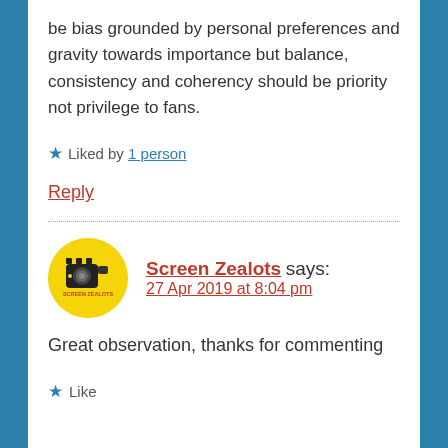be bias grounded by personal preferences and gravity towards importance but balance, consistency and coherency should be priority not privilege to fans.
★ Liked by 1 person
Reply
Screen Zealots says: 27 Apr 2019 at 8:04 pm
Great observation, thanks for commenting
★ Like